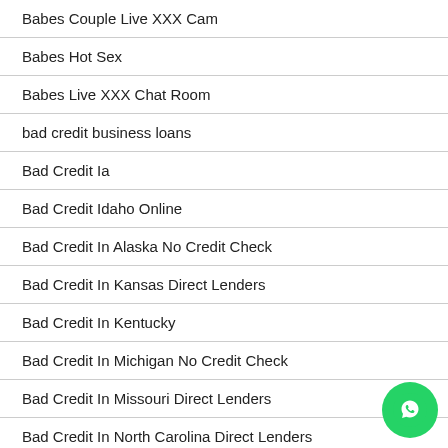Babes Couple Live XXX Cam
Babes Hot Sex
Babes Live XXX Chat Room
bad credit business loans
Bad Credit Ia
Bad Credit Idaho Online
Bad Credit In Alaska No Credit Check
Bad Credit In Kansas Direct Lenders
Bad Credit In Kentucky
Bad Credit In Michigan No Credit Check
Bad Credit In Missouri Direct Lenders
Bad Credit In North Carolina Direct Lenders
bad credit loans online